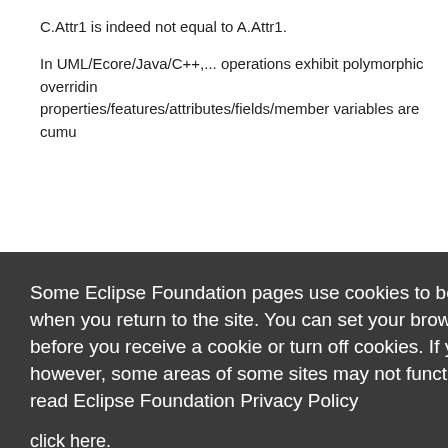C.Attr1 is indeed not equal to A.Attr1.
In UML/Ecore/Java/C++,... operations exhibit polymorphic overriding properties/features/attributes/fields/member variables are cumu
'wrong' A
through
turalFeat
isted in
the looke
> "property" is "A.Attr1". But the look-up is performed on C structu
[Figure (screenshot): Cookie consent banner overlay from Eclipse Foundation website. Dark gray background (#3a3a3a) with white text reading: 'Some Eclipse Foundation pages use cookies to better serve you when you return to the site. You can set your browser to notify you before you receive a cookie or turn off cookies. If you do so, however, some areas of some sites may not function properly. To read Eclipse Foundation Privacy Policy click here.' Two buttons: white 'Decline' button and orange 'Allow cookies' button.]